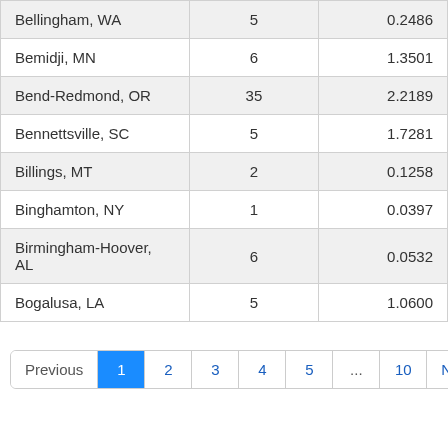| Bellingham, WA | 5 | 0.2486 |
| Bemidji, MN | 6 | 1.3501 |
| Bend-Redmond, OR | 35 | 2.2189 |
| Bennettsville, SC | 5 | 1.7281 |
| Billings, MT | 2 | 0.1258 |
| Binghamton, NY | 1 | 0.0397 |
| Birmingham-Hoover, AL | 6 | 0.0532 |
| Bogalusa, LA | 5 | 1.0600 |